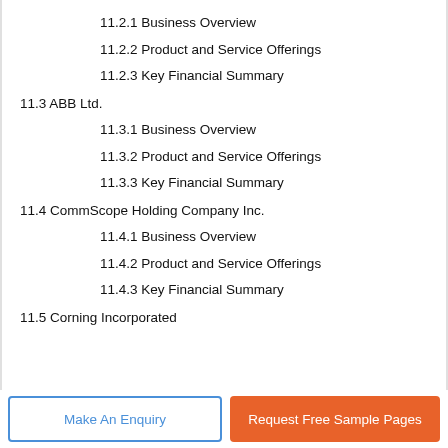11.2.1 Business Overview
11.2.2 Product and Service Offerings
11.2.3 Key Financial Summary
11.3 ABB Ltd.
11.3.1 Business Overview
11.3.2 Product and Service Offerings
11.3.3 Key Financial Summary
11.4 CommScope Holding Company Inc.
11.4.1 Business Overview
11.4.2 Product and Service Offerings
11.4.3 Key Financial Summary
11.5 Corning Incorporated